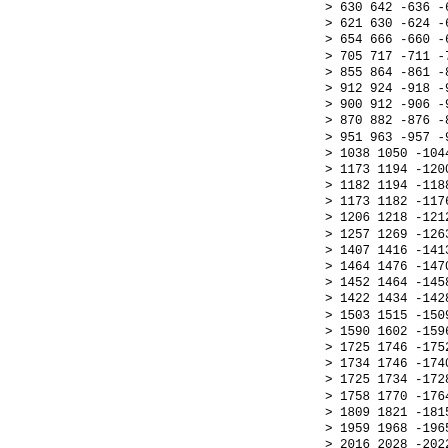> 630 642 -636 -639 31 624 636 -630 -633 31
> 621 630 -624 -627 31 594 606 -600 -603 31
> 654 666 -660 -663 31 675 687 -681 -684 31
> 705 717 -711 -714 31 762 774 -768 -771 31
> 855 864 -861 -867 30 897 918 -924 -927 31
> 912 924 -918 -921 31 906 918 -912 -915 31
> 900 912 -906 -909 31 897 906 -900 -903 31
> 870 882 -876 -879 31 930 942 -936 -939 31
> 951 963 -957 -960 31 981 993 -987 -990 31
> 1038 1050 -1044 -1047 31 1131 1140 -1137 -114
> 1173 1194 -1200 -1203 31 1188 1200 -1194 -119
> 1182 1194 -1188 -1191 31 1176 1188 -1182 -118
> 1173 1182 -1176 -1179 31 1146 1158 -1152 -115
> 1206 1218 -1212 -1215 31 1227 1239 -1233 -123
> 1257 1269 -1263 -1266 31 1314 1326 -1320 -132
> 1407 1416 -1413 -1419 30 1449 1470 -1476 -147
> 1464 1476 -1470 -1473 31 1458 1470 -1464 -146
> 1452 1464 -1458 -1461 31 1449 1458 -1452 -145
> 1422 1434 -1428 -1431 31 1482 1494 -1488 -149
> 1503 1515 -1509 -1512 31 1533 1545 -1539 -154
> 1590 1602 -1596 -1599 31 1683 1692 -1689 -169
> 1725 1746 -1752 -1755 31 1740 1752 -1746 -174
> 1734 1746 -1740 -1743 31 1728 1740 -1734 -173
> 1725 1734 -1728 -1731 31 1698 1710 -1704 -170
> 1758 1770 -1764 -1767 31 1779 1791 -1785 -178
> 1809 1821 -1815 -1818 31 1866 1878 -1872 -187
> 1959 1968 -1965 -1971 30 2001 2022 -2028 -203
> 2016 2028 -2022 -2025 31 2010 2022 -2016 -201